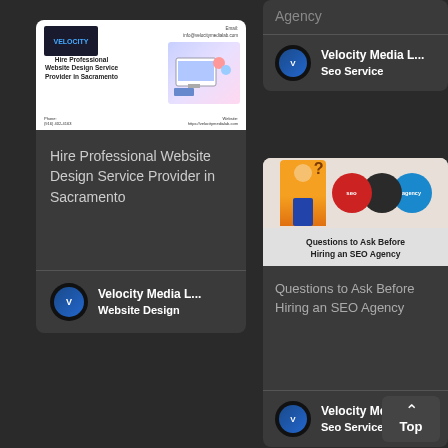[Figure (screenshot): Card preview image showing Velocity Media Lab website design flyer for Sacramento]
Hire Professional Website Design Service Provider in Sacramento
Velocity Media L...
Website Design
Agency
Velocity Media L...
Seo Service
[Figure (screenshot): SEO agency illustration with question mark figure and seo agency circles logo]
Questions to Ask Before Hiring an SEO Agency
Questions to Ask Before Hiring an SEO Agency
Velocity Media L...
Seo Service